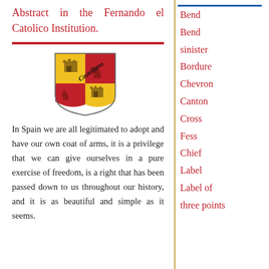Abstract in the Fernando el Catolico Institution.
[Figure (logo): Coat of arms / heraldic shield with red and gold quarters featuring castles and lions, with decorative Castellano script text overlay]
In Spain we are all legitimated to adopt and have our own coat of arms, it is a privilege that we can give ourselves in a pure exercise of freedom, is a right that has been passed down to us throughout our history, and it is as beautiful and simple as it seems.
Bend
Bend sinister
Bordure
Chevron
Canton
Cross
Fess
Chief
Label
Label of three points